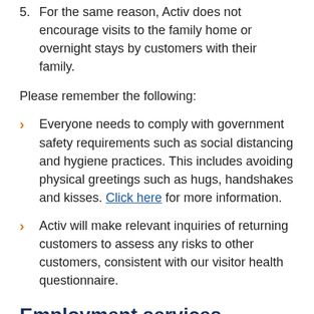5. For the same reason, Activ does not encourage visits to the family home or overnight stays by customers with their family.
Please remember the following:
Everyone needs to comply with government safety requirements such as social distancing and hygiene practices. This includes avoiding physical greetings such as hugs, handshakes and kisses. Click here for more information.
Activ will make relevant inquiries of returning customers to assess any risks to other customers, consistent with our visitor health questionnaire.
Employment services
Our employment sites remain open, as a direct result of